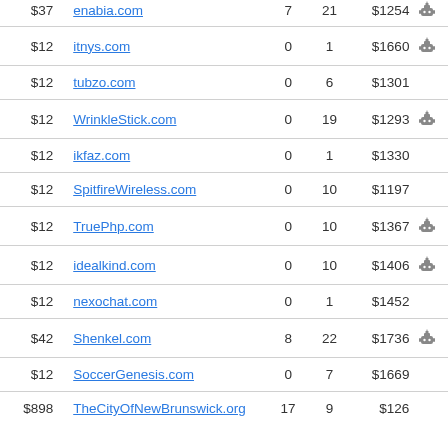| Price | Domain | Col3 | Col4 | Value | Icon |
| --- | --- | --- | --- | --- | --- |
| $37 | enabia.com | 7 | 21 | $1254 | robot |
| $12 | itnys.com | 0 | 1 | $1660 | robot |
| $12 | tubzo.com | 0 | 6 | $1301 |  |
| $12 | WrinkleStick.com | 0 | 19 | $1293 | robot |
| $12 | ikfaz.com | 0 | 1 | $1330 |  |
| $12 | SpitfireWireless.com | 0 | 10 | $1197 |  |
| $12 | TruePhp.com | 0 | 10 | $1367 | robot |
| $12 | idealkind.com | 0 | 10 | $1406 | robot |
| $12 | nexochat.com | 0 | 1 | $1452 |  |
| $42 | Shenkel.com | 8 | 22 | $1736 | robot |
| $12 | SoccerGenesis.com | 0 | 7 | $1669 |  |
| $898 | TheCityOfNewBrunswick.org | 17 | 9 | $126 |  |